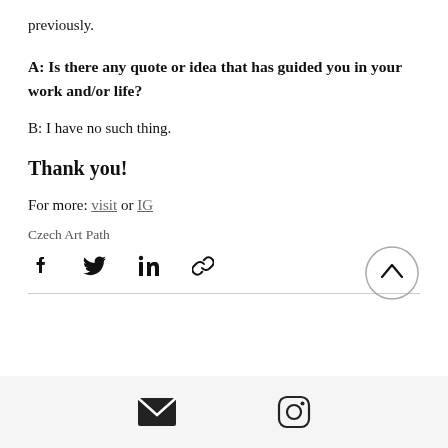previously.
A: Is there any quote or idea that has guided you in your work and/or life?
B: I have no such thing.
Thank you!
For more: visit or IG
Czech Art Path
[Figure (infographic): Social sharing icons: Facebook, Twitter, LinkedIn, link icon, and an up-arrow circle button]
[Figure (infographic): Footer bar with email envelope icon and Instagram icon]